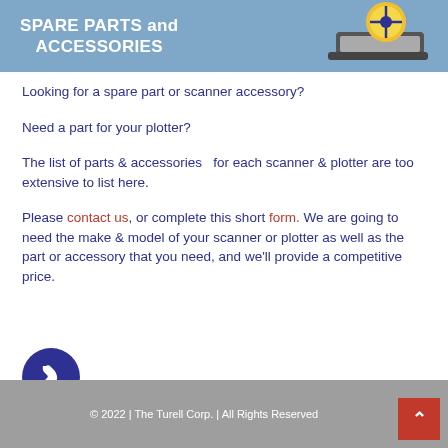[Figure (illustration): Blue banner header with white bold text 'SPARE PARTS and ACCESSORIES' on left and a scanner/plotter device image with yellow circular logo on right]
Looking for a spare part or scanner accessory?
Need a part for your plotter?
The list of parts & accessories  for each scanner & plotter are too extensive to list here.
Please contact us, or complete this short form. We are going to need the make & model of your scanner or plotter as well as the part or accessory that you need, and we'll provide a competitive price.
© 2022 | The Turell Corp. | All Rights Reserved